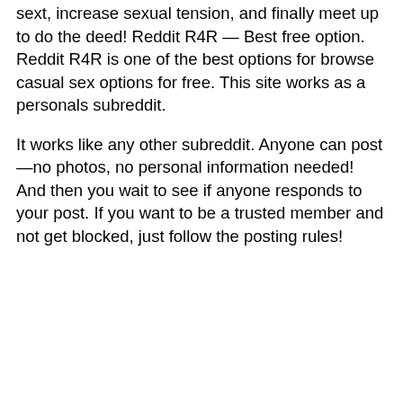sext, increase sexual tension, and finally meet up to do the deed! Reddit R4R — Best free option. Reddit R4R is one of the best options for browse casual sex options for free. This site works as a personals subreddit.
It works like any other subreddit. Anyone can post —no photos, no personal information needed! And then you wait to see if anyone responds to your post. If you want to be a trusted member and not get blocked, just follow the posting rules!